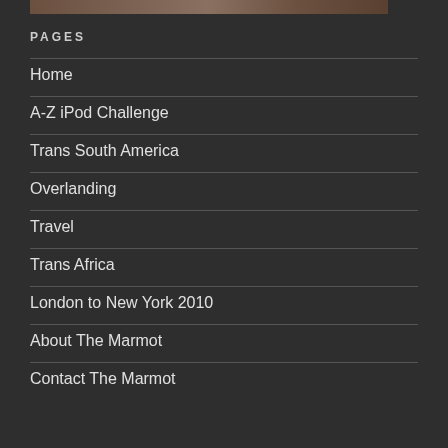[Figure (photo): Partial image strip at the top of the page]
PAGES
Home
A-Z iPod Challenge
Trans South America
Overlanding
Travel
Trans Africa
London to New York 2010
About The Marmot
Contact The Marmot